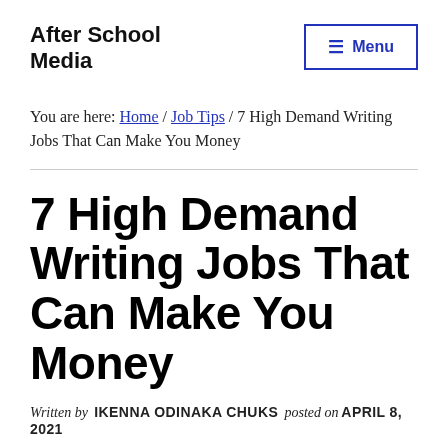After School Media
You are here: Home / Job Tips / 7 High Demand Writing Jobs That Can Make You Money
7 High Demand Writing Jobs That Can Make You Money
Written by IKENNA ODINAKA CHUKS posted on APRIL 8, 2021